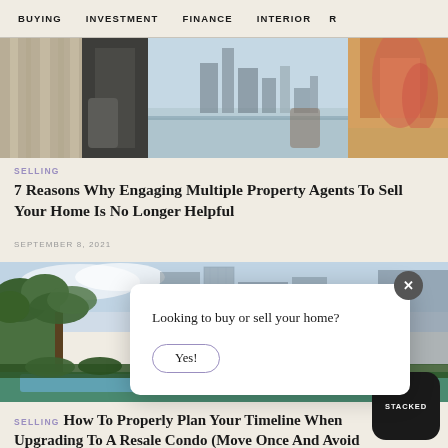BUYING   INVESTMENT   FINANCE   INTERIOR   R
[Figure (photo): Interior room photo showing a modern apartment with curtains, glass windows, outdoor city view with a tower, and an orange abstract artwork on the right wall]
SELLING 7 Reasons Why Engaging Multiple Property Agents To Sell Your Home Is No Longer Helpful
SEPTEMBER 8, 2021
[Figure (photo): Condominium complex exterior showing tropical palm trees, blue glass building facades, and a pool area below]
Looking to buy or sell your home?
Yes!
SELLING How To Properly Plan Your Timeline When Upgrading To A Resale Condo (Move Once And Avoid ABSD)